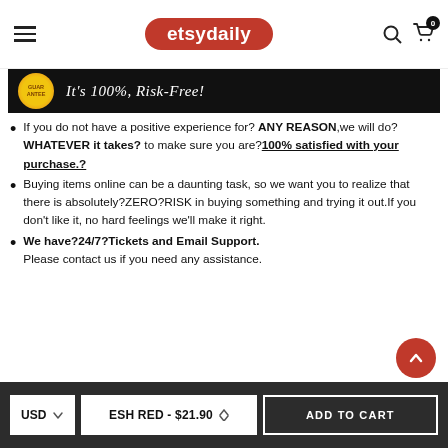etsydaily
[Figure (photo): Black banner with gold guarantee badge and text 'It's 100% Risk-Free!']
If you do not have a positive experience for? ANY REASON,we will do?WHATEVER it takes? to make sure you are? 100% satisfied with your purchase.?
Buying items online can be a daunting task, so we want you to realize that there is absolutely?ZERO?RISK in buying something and trying it out.If you don't like it, no hard feelings we'll make it right.
We have?24/7?Tickets and Email Support. Please contact us if you need any assistance.
USD  ESH RED - $21.90  ADD TO CART